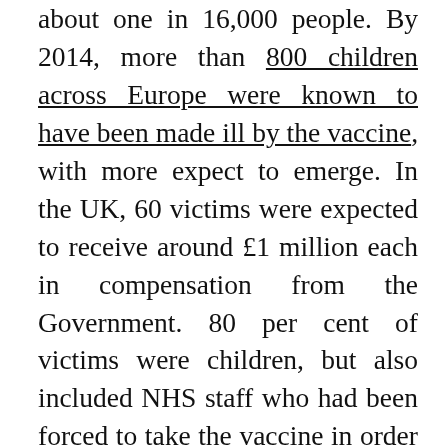about one in 16,000 people. By 2014, more than 800 children across Europe were known to have been made ill by the vaccine, with more expect to emerge. In the UK, 60 victims were expected to receive around £1 million each in compensation from the Government. 80 per cent of victims were children, but also included NHS staff who had been forced to take the vaccine in order to work. Since GSK had refused to supply the vaccine unless it was first indemnified against claims for damage, it paid the bill then claimed it back from the relevant governments. A decade later, pharmaceutical companies developing the COVID...